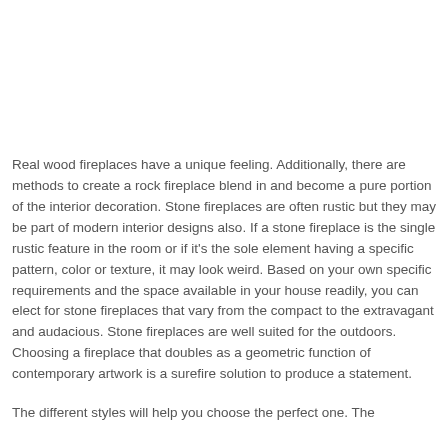Real wood fireplaces have a unique feeling. Additionally, there are methods to create a rock fireplace blend in and become a pure portion of the interior decoration. Stone fireplaces are often rustic but they may be part of modern interior designs also. If a stone fireplace is the single rustic feature in the room or if it's the sole element having a specific pattern, color or texture, it may look weird. Based on your own specific requirements and the space available in your house readily, you can elect for stone fireplaces that vary from the compact to the extravagant and audacious. Stone fireplaces are well suited for the outdoors. Choosing a fireplace that doubles as a geometric function of contemporary artwork is a surefire solution to produce a statement.
The different styles will help you choose the perfect one. The